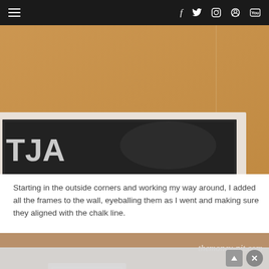Navigation bar with hamburger menu and social icons: f (Facebook), Twitter, Instagram, Pinterest, YouTube
[Figure (photo): Close-up photo of a framed picture hung on a tan/orange textured wall. A white picture frame with dark interior is partially visible in the lower-left corner. The letters 'TJA' are visible in white on the dark frame interior. A faint chalk line is visible on the wall.]
Starting in the outside corners and working my way around, I added all the frames to the wall, eyeballing them as I went and making sure they aligned with the chalk line.
[Figure (photo): Photo of a tan/brown wall with a white picture frame hanging on the left side showing a decorative print. A dashed chalk line is visible running horizontally across the wall. The watermark 'themoney-pit.com' appears in the upper right area of the image. The bottom portion of the image is cut off by an overlay bar.]